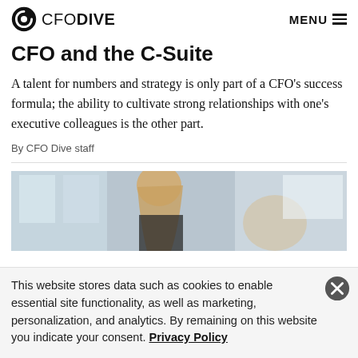CFO DIVE  MENU
CFO and the C-Suite
A talent for numbers and strategy is only part of a CFO's success formula; the ability to cultivate strong relationships with one's executive colleagues is the other part.
By CFO Dive staff
[Figure (photo): A blurred office photo showing a woman with long blonde hair, with office windows and furniture in the background.]
This website stores data such as cookies to enable essential site functionality, as well as marketing, personalization, and analytics. By remaining on this website you indicate your consent. Privacy Policy